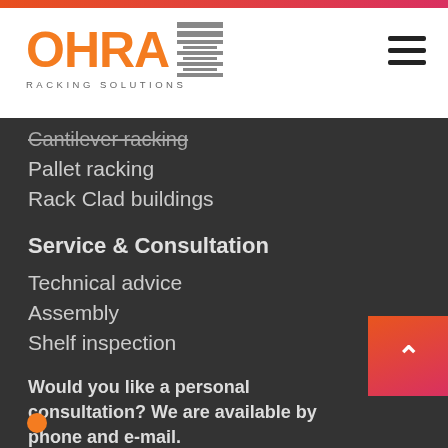[Figure (logo): OHRA Racking Solutions logo in orange with rack icon and tagline 'RACKING SOLUTIONS']
Cantilever racking (strikethrough/partial)
Pallet racking
Rack Clad buildings
Service & Consultation
Technical advice
Assembly
Shelf inspection
Would you like a personal consultation? We are available by phone and e-mail.